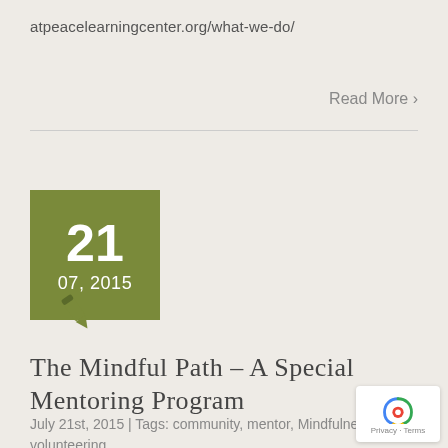atpeacelearningcenter.org/what-we-do/
Read More >
[Figure (other): Date badge showing 21 / 07, 2015 on olive green background]
[Figure (illustration): Pen/quill icon in olive color]
The Mindful Path – A Special Mentoring Program
July 21st, 2015 | Tags: community, mentor, Mindfulness, volunteering